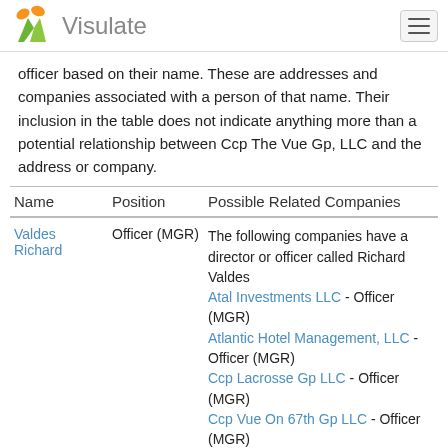Visulate
officer based on their name. These are addresses and companies associated with a person of that name. Their inclusion in the table does not indicate anything more than a potential relationship between Ccp The Vue Gp, LLC and the address or company.
| Name | Position | Possible Related Companies |
| --- | --- | --- |
| Valdes Richard | Officer (MGR) | The following companies have a director or officer called Richard Valdes
Atal Investments LLC - Officer (MGR)
Atlantic Hotel Management, LLC - Officer (MGR)
Ccp Lacrosse Gp LLC - Officer (MGR)
Ccp Vue On 67th Gp LLC - Officer (MGR)
Circle Capital Partners LLC - Officer (MGR)
Express Air Conditioning, Inc. - Registered Agent
Hahn LLC - Officer (MGR)
Handy Divas Inc - Officer (Dire)
Inver 250 LLC - Officer (MGR) |